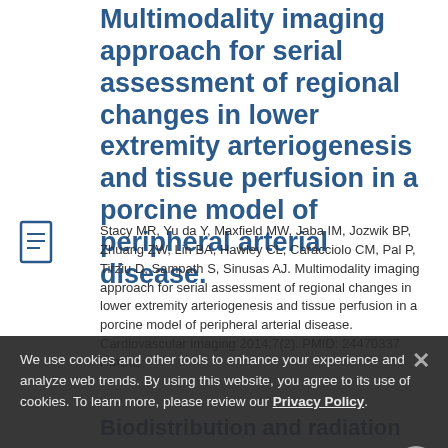Multimodality imaging approach for serial assessment of regional changes in lower extremity arteriogenesis and tissue perfusion in a porcine model of peripheral arterial disease.
Stacy MR, Yu da Y, Maxfield MW, Jaba IM, Jozwik BP, Zhuang ZW, Lin BA, Hawley CL, Caracciolo CM, Pal P, Tirziu D, Sampath S, Sinusas AJ. Multimodality imaging approach for serial assessment of regional changes in lower extremity arteriogenesis and tissue perfusion in a porcine model of peripheral arterial disease. Cardiovascular imaging 2014;7(2). PMID: 24470337 PMCID:
We use cookies and other tools to enhance your experience and analyze web trends. By using this website, you agree to its use of cookies. To learn more, please review our Privacy Policy.
Biodistribution and radiation